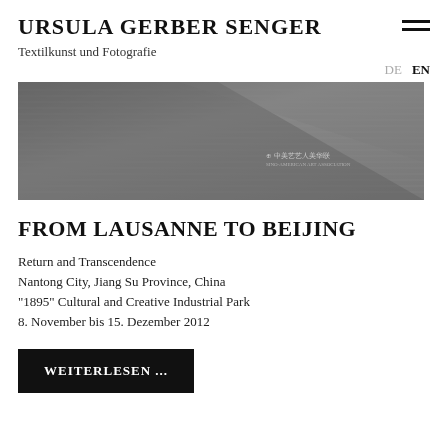URSULA GERBER SENGER
Textilkunst und Fotografie
DE  EN
[Figure (photo): Grayscale banner photograph showing a textured fabric or architectural surface with diagonal lines and shadows, with a small Chinese emblem/logo visible in the lower center-right area.]
FROM LAUSANNE TO BEIJING
Return and Transcendence
Nantong City, Jiang Su Province, China
"1895" Cultural and Creative Industrial Park
8. November bis 15. Dezember 2012
WEITERLESEN ...